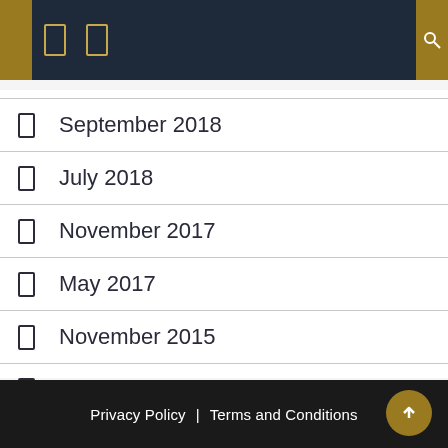Navigation header with icons
September 2018
July 2018
November 2017
May 2017
November 2015
August 2014
March 2014
Privacy Policy | Terms and Conditions